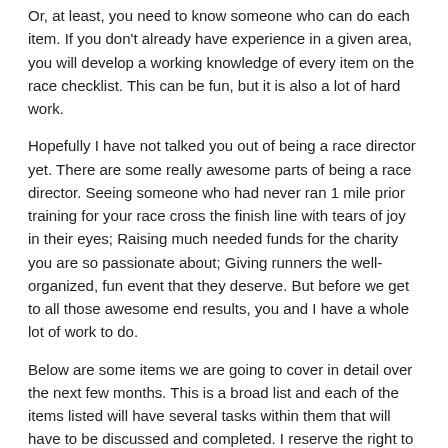Or, at least, you need to know someone who can do each item. If you don't already have experience in a given area, you will develop a working knowledge of every item on the race checklist. This can be fun, but it is also a lot of hard work.
Hopefully I have not talked you out of being a race director yet. There are some really awesome parts of being a race director. Seeing someone who had never ran 1 mile prior training for your race cross the finish line with tears of joy in their eyes; Raising much needed funds for the charity you are so passionate about; Giving runners the well-organized, fun event that they deserve. But before we get to all those awesome end results, you and I have a whole lot of work to do.
Below are some items we are going to cover in detail over the next few months. This is a broad list and each of the items listed will have several tasks within them that will have to be discussed and completed. I reserve the right to switch around the order of these blogs, but we will get to them all in due time.
-Pick Your Poison: Choosing the right event for you and your organization.